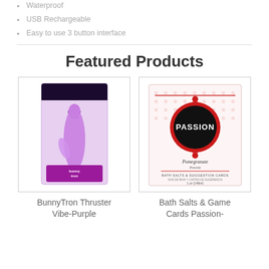Waterproof
USB Rechargeable
Easy to use 3 button interface
Featured Products
[Figure (photo): Product photo of BunnyTron Thruster Vibe in purple packaging]
BunnyTron Thruster Vibe-Purple
[Figure (photo): Product photo of Bath Salts & Game Cards Passion- Pomegranate with red ornate frame design and PASSION branding]
Bath Salts & Game Cards Passion-